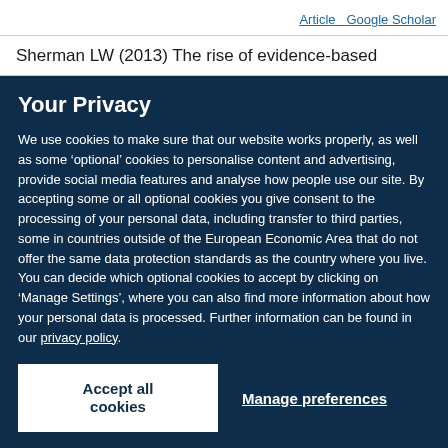Article   Google Scholar
Sherman LW (2013) The rise of evidence-based
Your Privacy
We use cookies to make sure that our website works properly, as well as some ‘optional’ cookies to personalise content and advertising, provide social media features and analyse how people use our site. By accepting some or all optional cookies you give consent to the processing of your personal data, including transfer to third parties, some in countries outside of the European Economic Area that do not offer the same data protection standards as the country where you live. You can decide which optional cookies to accept by clicking on ‘Manage Settings’, where you can also find more information about how your personal data is processed. Further information can be found in our privacy policy.
Accept all cookies
Manage preferences